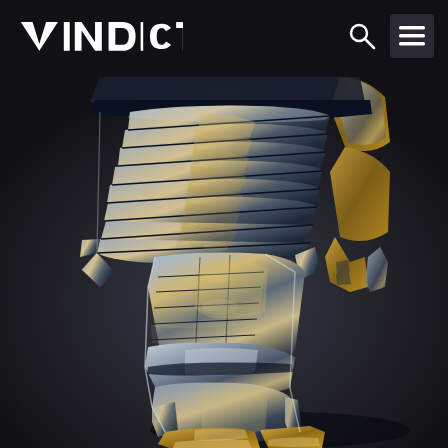VINDICTUS
[Figure (photo): 3D render of a fantasy armored knight character, showing detailed metallic plate armor on the legs and lower torso. The armor has silver and gold tones with intricate overlapping plates and sharp angular edges. The background is dark. This appears to be from the game Vindictus.]